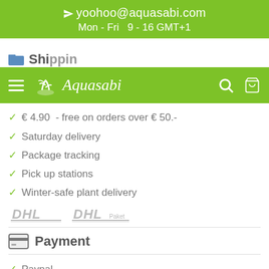yoohoo@aquasabi.com
Mon - Fri  9 - 16 GMT+1
[Figure (screenshot): Aquasabi navigation bar with hamburger menu, logo, search and cart icons on green background]
Shipping
€ 4.90  - free on orders over € 50.-
Saturday delivery
Package tracking
Pick up stations
Winter-safe plant delivery
[Figure (logo): DHL and DHL Paket logos in grey]
Payment
Paypal
Direct E-Banking